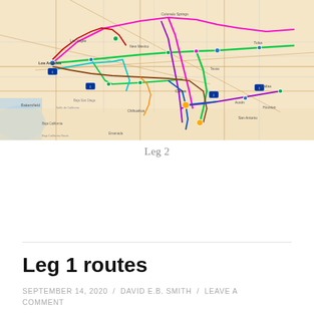[Figure (map): A road map of the southwestern United States showing multiple colored route lines (green, magenta, cyan, purple, red, brown, blue, orange) tracing different travel legs across states including California, Nevada, Arizona, New Mexico, Colorado, Texas, and surrounding areas. Various city markers and interstate highway shields are visible.]
Leg 2
Leg 1 routes
SEPTEMBER 14, 2020 / DAVID E.B. SMITH / LEAVE A COMMENT